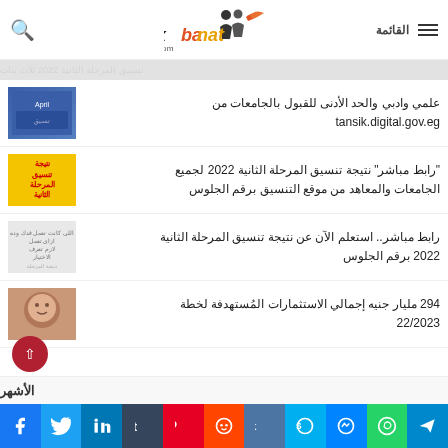MixBanat - mixbanat.com
علمي وادبي والحد الأدنى للقبول بالجامعات من tansik.digital.gov.eg
"رابط مباشر" نتيجة تنسيق المرحلة الثانية 2022 لجميع الجامعات والمعاهد من موقع التنسيق برقم الجلوس
رابط مباشر.. استعلم الآن عن نتيجة تنسيق المرحلة الثانية 2022 برقم الجلوس
294 مليار جنيه إجمالي الاستثمارات المُستهدفة لخطة 22/2023